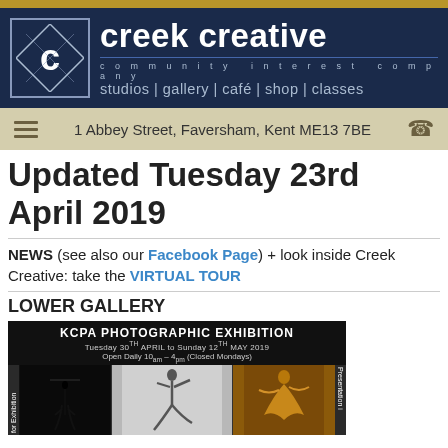[Figure (logo): Creek Creative Community Interest Company logo and header banner with dark navy background, 'cc' logo mark, company name 'creek creative', tagline 'community interest company', and services 'studios gallery café shop classes']
1 Abbey Street, Faversham, Kent ME13 7BE
Updated Tuesday 23rd April 2019
NEWS (see also our Facebook Page) + look inside Creek Creative: take the VIRTUAL TOUR
LOWER GALLERY
[Figure (photo): KCPA Photographic Exhibition banner showing 'Tuesday 30th APRIL to Sunday 12th MAY 2019, Open Daily 10am - 4pm (Closed Mondays)' with three photography images below]